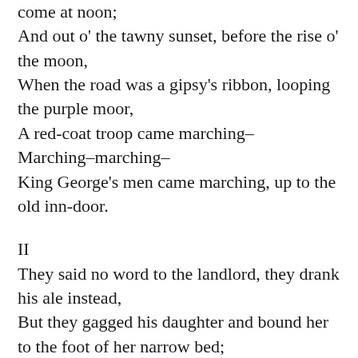come at noon;
And out o' the tawny sunset, before the rise o' the moon,
When the road was a gipsy's ribbon, looping the purple moor,
A red-coat troop came marching–
Marching–marching–
King George's men came marching, up to the old inn-door.
II
They said no word to the landlord, they drank his ale instead,
But they gagged his daughter and bound her to the foot of her narrow bed;
Two of them knelt at her casement, with m